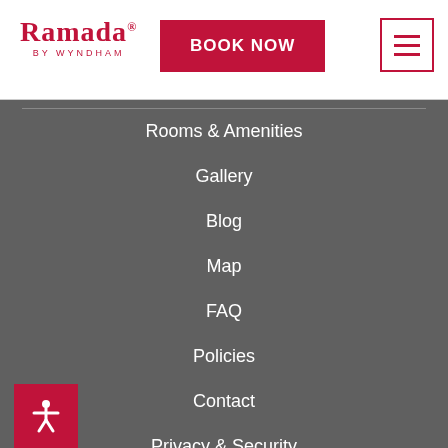RAMADA BY WYNDHAM
Rooms & Amenities
Gallery
Blog
Map
FAQ
Policies
Contact
Privacy & Security
EXPLORE
Monterey Bay Aquarium
Area